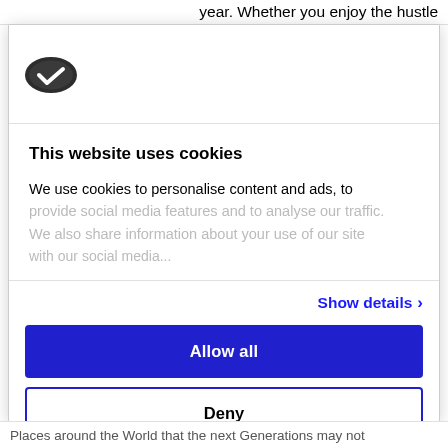year. Whether you enjoy the hustle
[Figure (logo): Cookiebot logo — dark oval shape with white checkmark]
This website uses cookies
We use cookies to personalise content and ads, to provide social media features and to analyse our traffic. We also share information about your use of our site
Show details ›
Allow all
Deny
Powered by Cookiebot by Usercentrics
Places around the World that the next Generations may not